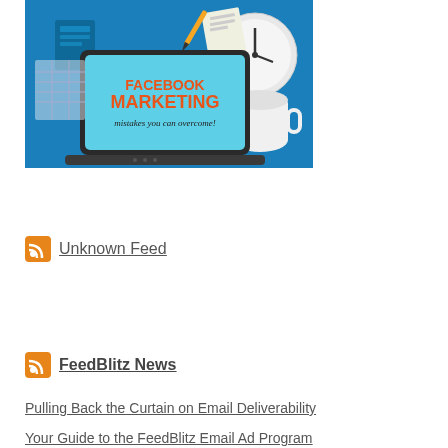[Figure (illustration): Illustration of a laptop with text 'FACEBOOK MARKETING mistakes you can overcome!' on screen, surrounded by office items and a clock, on a blue background.]
Unknown Feed
FeedBlitz News
Pulling Back the Curtain on Email Deliverability
Your Guide to the FeedBlitz Email Ad Program